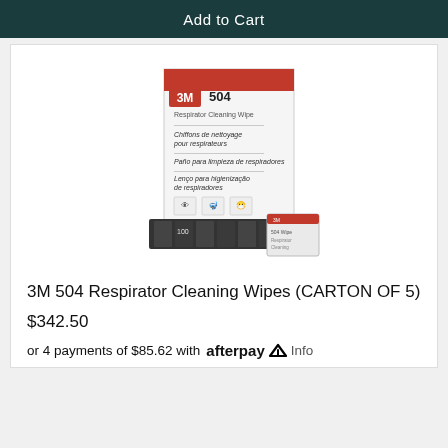Add to Cart
[Figure (photo): 3M 504 Respirator Cleaning Wipes product box with individual wipe packets displayed in front of box]
3M 504 Respirator Cleaning Wipes (CARTON OF 5)
$342.50
or 4 payments of $85.62 with afterpay Info